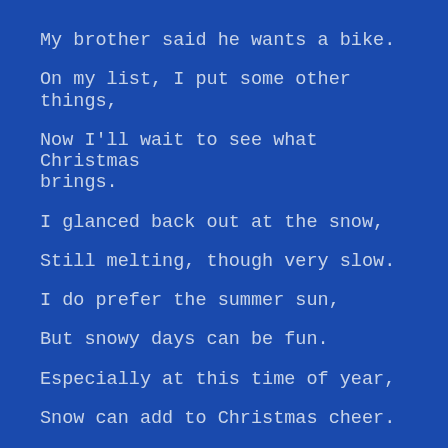My brother said he wants a bike.
On my list, I put some other things,
Now I'll wait to see what Christmas brings.
I glanced back out at the snow,
Still melting, though very slow.
I do prefer the summer sun,
But snowy days can be fun.
Especially at this time of year,
Snow can add to Christmas cheer.